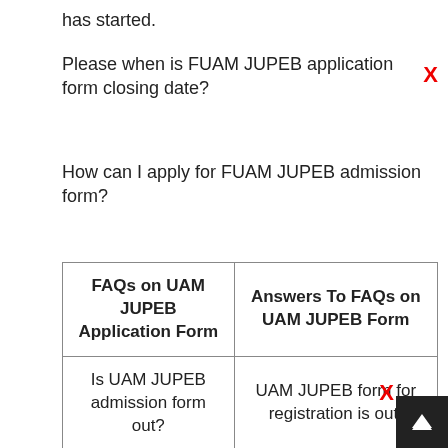has started.
Please when is FUAM JUPEB application form closing date?
How can I apply for FUAM JUPEB admission form?
| FAQs on UAM JUPEB Application Form | Answers To FAQs on UAM JUPEB Form |
| --- | --- |
| Is UAM JUPEB admission form out? | UAM JUPEB form for registration is out. |
| When will UAM JUPEB admission forms be out? | UAM JUPEB application form for 2022/2023 session is currently on sale. |